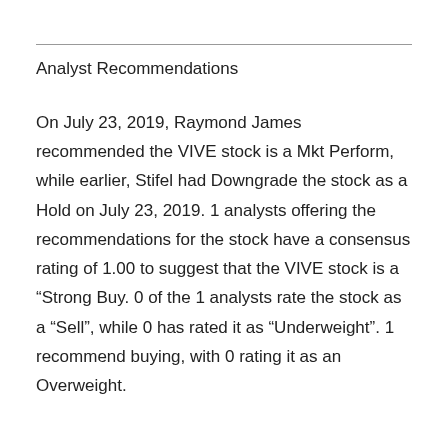Analyst Recommendations
On July 23, 2019, Raymond James recommended the VIVE stock is a Mkt Perform, while earlier, Stifel had Downgrade the stock as a Hold on July 23, 2019. 1 analysts offering the recommendations for the stock have a consensus rating of 1.00 to suggest that the VIVE stock is a “Strong Buy. 0 of the 1 analysts rate the stock as a “Sell”, while 0 has rated it as “Underweight”. 1 recommend buying, with 0 rating it as an Overweight.